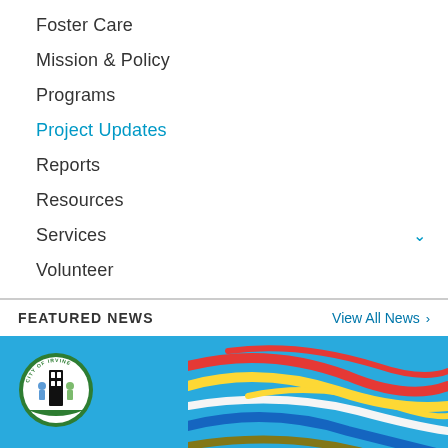Foster Care
Mission & Policy
Programs
Project Updates
Reports
Resources
Services
Volunteer
FEATURED NEWS
View All News >
[Figure (illustration): City of Irvine banner with the City of Irvine seal logo on the left, colorful ribbon decorations on the right, and large bold dark blue text reading COOLING on a sky blue background.]